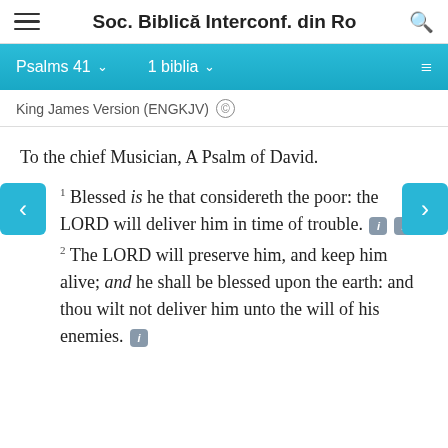Soc. Biblică Interconf. din Ro
Psalms 41  1 biblia
King James Version (ENGKJV) ©
To the chief Musician, A Psalm of David.
41  1 Blessed is he that considereth the poor: the LORD will deliver him in time of trouble.
2 The LORD will preserve him, and keep him alive; and he shall be blessed upon the earth: and thou wilt not deliver him unto the will of his enemies.